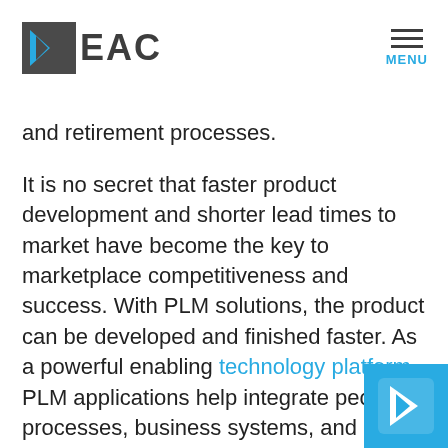EAC | MENU
and retirement processes.
It is no secret that faster product development and shorter lead times to market have become the key to marketplace competitiveness and success. With PLM solutions, the product can be developed and finished faster. As a powerful enabling technology platform, PLM applications help integrate people, processes, business systems, and of course data to streamline the product information